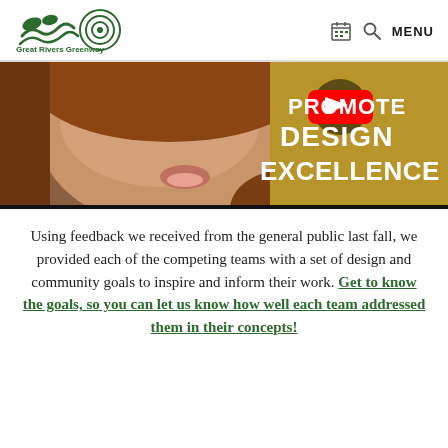Great Rivers Greenway — MENU
[Figure (screenshot): Video thumbnail showing a woman speaking, with YouTube play button overlay and text 'PROMOTE DESIGN EXCELLENCE' on right side]
Using feedback we received from the general public last fall, we provided each of the competing teams with a set of design and community goals to inspire and inform their work. Get to know the goals, so you can let us know how well each team addressed them in their concepts!